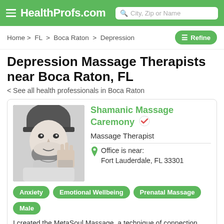HealthProfs.com
Home > FL > Boca Raton > Depression
Depression Massage Therapists near Boca Raton, FL
< See all health professionals in Boca Raton
[Figure (photo): Black and white portrait photo of a bearded man wearing a cap, holding up fingers, with tattoos on hand, looking intensely at camera]
Shamanic Massage Caremony
Massage Therapist
Office is near: Fort Lauderdale, FL 33301
Anxiety
Emotional Wellbeing
Prenatal Massage
Male
I created the MetaSoul Massage, a technique of connection